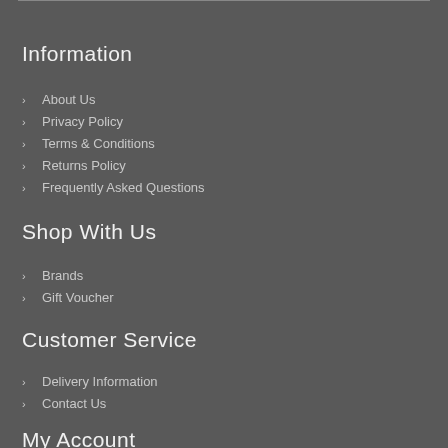Information
About Us
Privacy Policy
Terms & Conditions
Returns Policy
Frequently Asked Questions
Shop With Us
Brands
Gift Voucher
Customer Service
Delivery Information
Contact Us
My Account
My Account